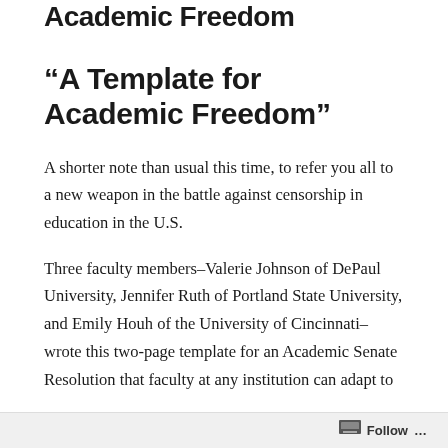Academic Freedom
“A Template for Academic Freedom”
A shorter note than usual this time, to refer you all to a new weapon in the battle against censorship in education in the U.S.
Three faculty members–Valerie Johnson of DePaul University, Jennifer Ruth of Portland State University, and Emily Houh of the University of Cincinnati–wrote this two-page template for an Academic Senate Resolution that faculty at any institution can adapt to
Follow ...